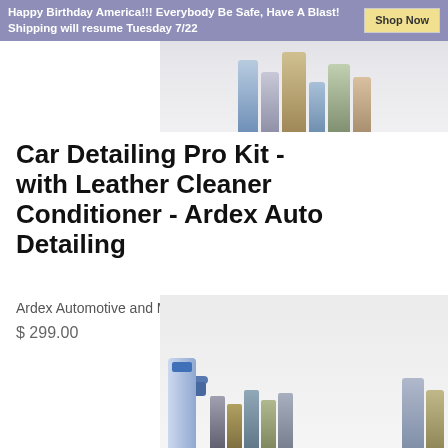Happy Birthday America!!! Everybody Be Safe, Have A Blast! Shipping will resume Tuesday 7/22
[Figure (photo): Product image of car detailing kit with multiple bottles and spray containers on a light background]
Car Detailing Pro Kit - with Leather Cleaner Conditioner - Ardex Auto Detailing
Ardex Automotive and Marine Supply
$ 299.00
[Figure (photo): Product image showing spray bottle with blue top, multiple small dark bottles, and containers on white background]